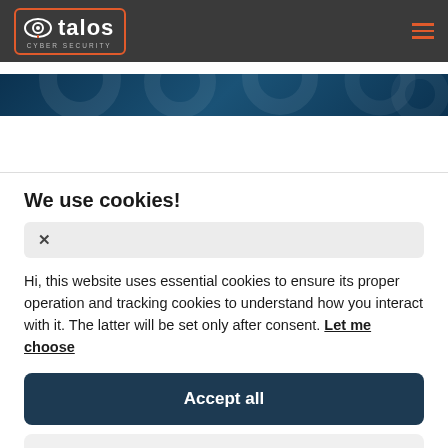[Figure (logo): Talos Cyber Security logo with eye icon in orange-bordered box on dark navigation bar]
[Figure (illustration): Dark blue hero banner with subtle circular hexagonal pattern overlay]
We use cookies!
× (close button)
Hi, this website uses essential cookies to ensure its proper operation and tracking cookies to understand how you interact with it. The latter will be set only after consent. Let me choose
Accept all
Reject all